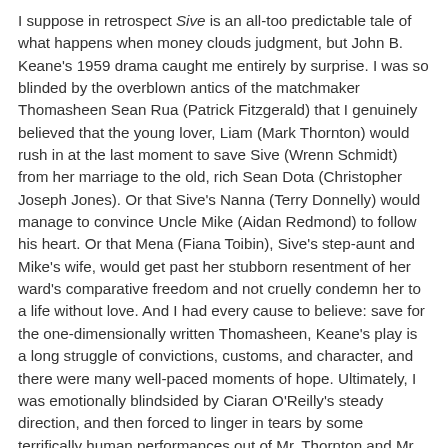I suppose in retrospect Sive is an all-too predictable tale of what happens when money clouds judgment, but John B. Keane's 1959 drama caught me entirely by surprise. I was so blinded by the overblown antics of the matchmaker Thomasheen Sean Rua (Patrick Fitzgerald) that I genuinely believed that the young lover, Liam (Mark Thornton) would rush in at the last moment to save Sive (Wrenn Schmidt) from her marriage to the old, rich Sean Dota (Christopher Joseph Jones). Or that Sive's Nanna (Terry Donnelly) would manage to convince Uncle Mike (Aidan Redmond) to follow his heart. Or that Mena (Fiana Toibin), Sive's step-aunt and Mike's wife, would get past her stubborn resentment of her ward's comparative freedom and not cruelly condemn her to a life without love. And I had every cause to believe: save for the one-dimensionally written Thomasheen, Keane's play is a long struggle of convictions, customs, and character, and there were many well-paced moments of hope. Ultimately, I was emotionally blindsided by Ciaran O'Reilly's steady direction, and then forced to linger in tears by some terrifically human performances out of Mr. Thornton and Mr. Redmond (and the two somewhat jokey musicians, played by Donie Carroll and James Barry).